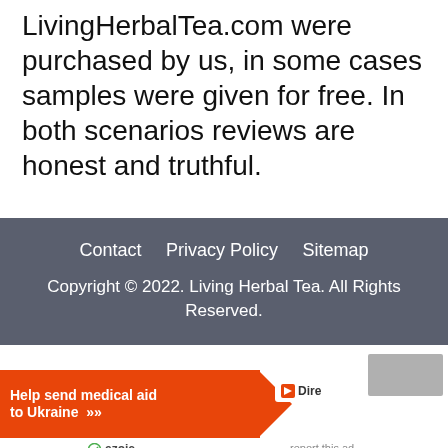LivingHerbalTea.com were purchased by us, in some cases samples were given for free. In both scenarios reviews are honest and truthful.
Contact   Privacy Policy   Sitemap
Copyright © 2022. Living Herbal Tea. All Rights Reserved.
[Figure (other): Orange advertisement banner: 'Help send medical aid to Ukraine >>' with Direct Relief logo, partially cut off. Below: ezoic label and 'report this ad' link.]